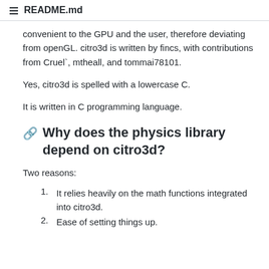README.md
convenient to the GPU and the user, therefore deviating from openGL. citro3d is written by fincs, with contributions from Cruel`, mtheall, and tommai78101.
Yes, citro3d is spelled with a lowercase C.
It is written in C programming language.
Why does the physics library depend on citro3d?
Two reasons:
It relies heavily on the math functions integrated into citro3d.
Ease of setting things up.